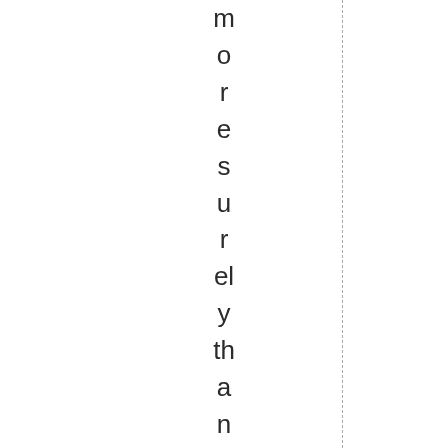more surely than all the excrement in th